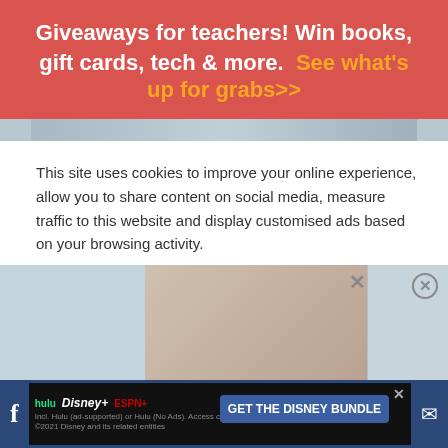Giveaways for teachers! Win books, gift cards, tech & more.  See what's up for grabs>>
[Figure (photo): Partial image strip visible at top of page]
This site uses cookies to improve your online experience, allow you to share content on social media, measure traffic to this website and display customised ads based on your browsing activity.
Learn More
Accept
[Figure (photo): Photo of teacher and student in classroom, with close buttons]
[Figure (screenshot): Disney Bundle advertisement bar at bottom with Hulu, Disney+, ESPN+ logos and GET THE DISNEY BUNDLE CTA]